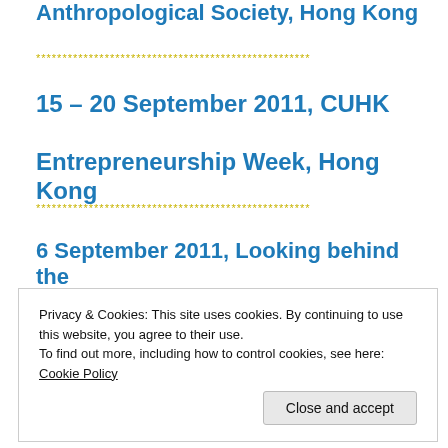Anthropological Society, Hong Kong
************************************************
15 – 20 September 2011, CUHK
Entrepreneurship Week, Hong Kong
************************************************
6 September 2011, Looking behind the
Privacy & Cookies: This site uses cookies. By continuing to use this website, you agree to their use.
To find out more, including how to control cookies, see here: Cookie Policy
Close and accept